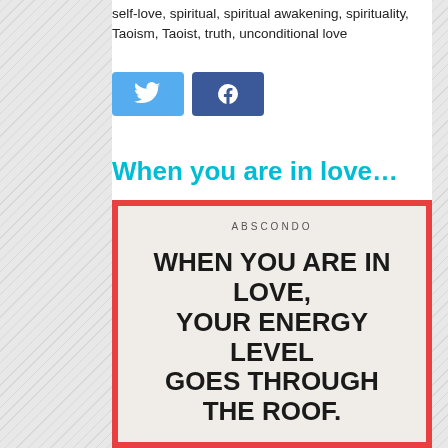self-love, spiritual, spiritual awakening, spirituality, Taoism, Taoist, truth, unconditional love
[Figure (infographic): Twitter and Facebook social share buttons (blue icons)]
When you are in love...
[Figure (infographic): Quote image with red border on light pink background. Text reads: ABSCONDO - WHEN YOU ARE IN LOVE, YOUR ENERGY LEVEL GOES THROUGH THE ROOF.]